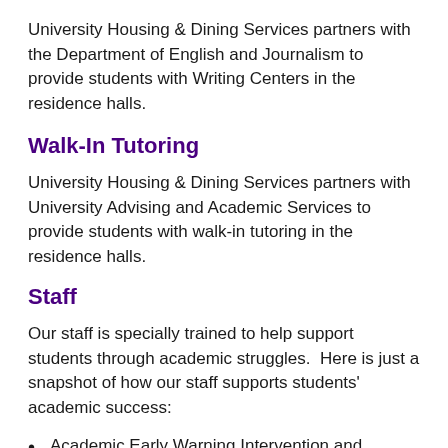University Housing & Dining Services partners with the Department of English and Journalism to provide students with Writing Centers in the residence halls.
Walk-In Tutoring
University Housing & Dining Services partners with University Advising and Academic Services to provide students with walk-in tutoring in the residence halls.
Staff
Our staff is specially trained to help support students through academic struggles.  Here is just a snapshot of how our staff supports students' academic success:
Academic Early Warning Intervention and Conversations
Making Achievement Possible (MAP) Assessment Program